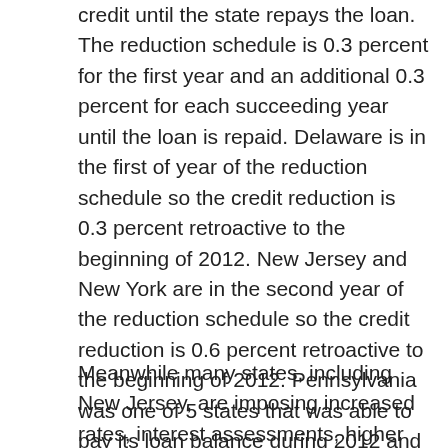credit until the state repays the loan. The reduction schedule is 0.3 percent for the first year and an additional 0.3 percent for each succeeding year until the loan is repaid. Delaware is in the first of year of the reduction schedule so the credit reduction is 0.3 percent retroactive to the beginning of 2012. New Jersey and New York are in the second year of the reduction schedule so the credit reduction is 0.6 percent retroactive to the beginning of 2012. Pennsylvania was one of 5 states that was able to pay its loan balance during 2012 and is no longer a credit reduction state.
Meanwhile many states, including New Jersey, are imposing increased rates, interest assessments, higher wage bases or surcharges at the state tax level in an attempt to make their plans solvent.